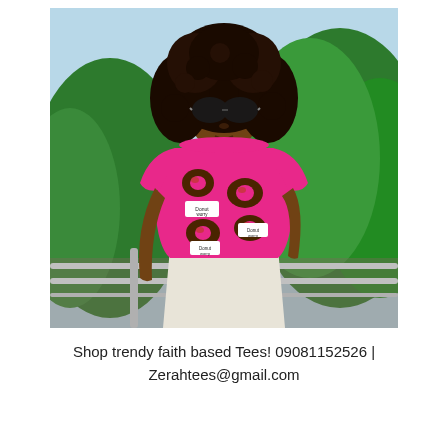[Figure (photo): A young woman with large curly hair and round sunglasses wearing a bright pink t-shirt printed with donut graphics and 'Donut Worry' labels, standing near a railing with green trees in the background.]
Shop trendy faith based Tees! 09081152526 | Zerahtees@gmail.com